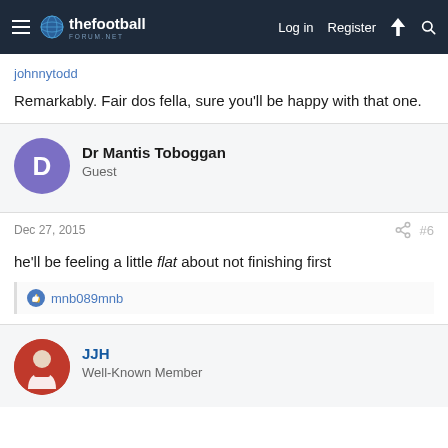thefootballforum.net – Log in | Register
johnnytodd
Remarkably. Fair dos fella, sure you'll be happy with that one.
Dr Mantis Toboggan
Guest
Dec 27, 2015  #6
he'll be feeling a little flat about not finishing first
mnb089mnb
JJH
Well-Known Member